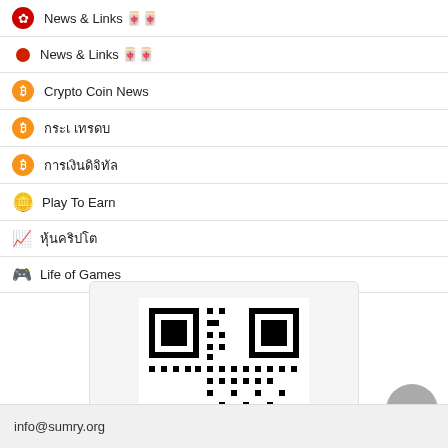🌸 News & Links 🀄🀄
● News & Links 🀄🀄
Ⓑ Crypto Coin News
Ⓑ ขฃคฆ ฆงจฉ
Ⓑ ขฃคฆฉฃฆฤฤฆฤฤฆ
🎰 Play To Earn
📈 ฃฆฃฤฤฤฆฤฤฆ
🎮 Life of Games
[Figure (other): QR code linking to https://sumry.org/]
URL : https://sumry.org/
info@sumry.org